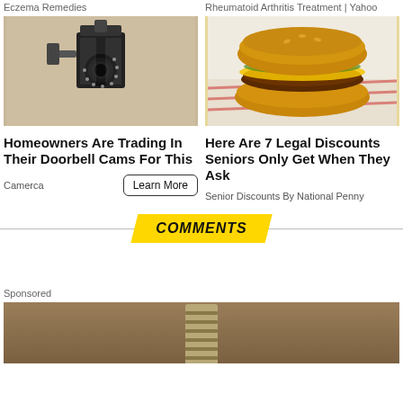Eczema Remedies
Rheumatoid Arthritis Treatment | Yahoo
[Figure (photo): Security camera mounted on exterior wall of a house, resembling a lantern fixture]
[Figure (photo): Hamburger/cheeseburger on white deli paper]
Homeowners Are Trading In Their Doorbell Cams For This
Here Are 7 Legal Discounts Seniors Only Get When They Ask
Camerca
Learn More
Senior Discounts By National Penny
COMMENTS
Sponsored
[Figure (photo): Bottom portion of a light bulb on a brown/tan background]